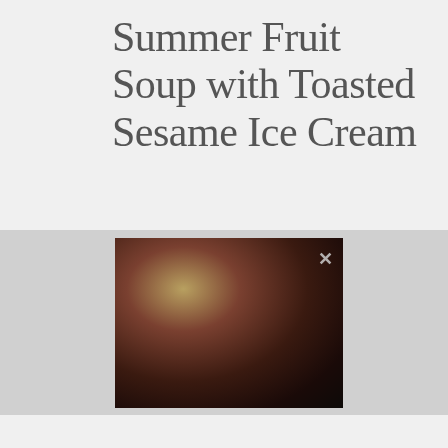Summer Fruit Soup with Toasted Sesame Ice Cream
[Figure (photo): Close-up photo of Summer Fruit Soup with Toasted Sesame Ice Cream dish, dark background with warm reddish-brown and golden fruit tones, with an X close button in the top right corner]
Serving:
6